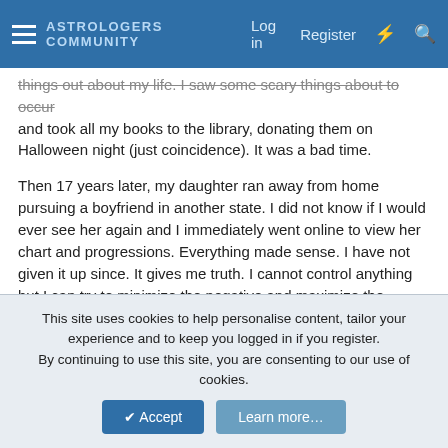ASTROLOGERS COMMUNITY  Log in  Register
things out about my life. I saw some scary things about to occur and took all my books to the library, donating them on Halloween night (just coincidence). It was a bad time.
Then 17 years later, my daughter ran away from home pursuing a boyfriend in another state. I did not know if I would ever see her again and I immediately went online to view her chart and progressions. Everything made sense. I have not given it up since. It gives me truth. I cannot control anything but I can try to minimize the negative and maximize the positive.
Reply
J.Lily
Well-known member
This site uses cookies to help personalise content, tailor your experience and to keep you logged in if you register.
By continuing to use this site, you are consenting to our use of cookies.